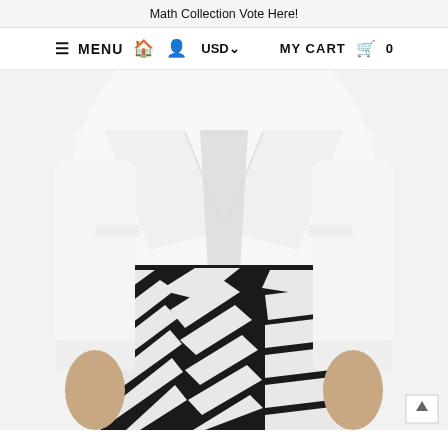Math Collection Vote Here!
≡ MENU  🏠  👤  USD∨     MY CART  🛍  0
[Figure (photo): Fashion product photo showing a model wearing a white crop blazer jacket and black-and-white zebra print pants/leggings. Only the torso and hands are visible against a white background.]